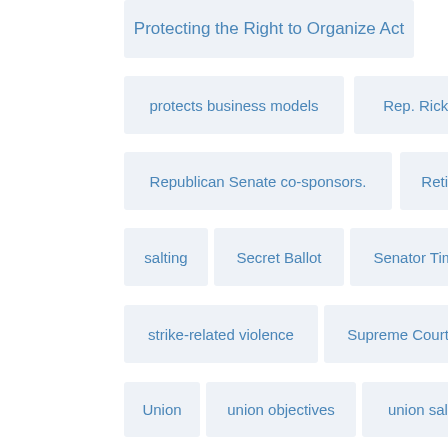Protecting the Right to Organize Act
protects business models
Rep. Rick Allen
Republican Senate co-sponsors.
Retirement
salting
Secret Ballot
Senator Tim Scott
strike-related violence
Supreme Court
Union
union objectives
union salting
union violence
unionixation
unions
United States v. Enmons
vote to strike
vote to unionize
W-2
W-2 employee